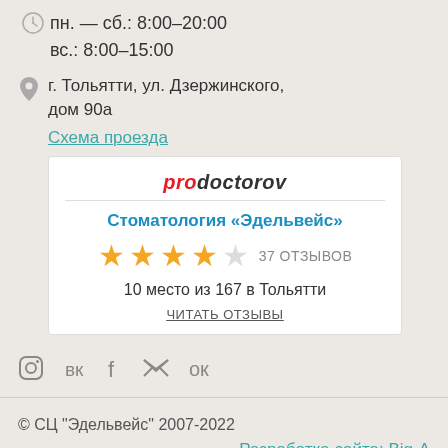пн. — сб.: 8:00–20:00
вс.: 8:00–15:00
г. Тольятти, ул. Дзержинского, дом 90а
Схема проезда
[Figure (infographic): Prodoctorov widget showing Стоматология «Эдельвейс» with 4 out of 5 stars, 37 отзывов, 10 место из 167 в Тольятти, читать отзывы link]
[Figure (infographic): Social media icons: Instagram, VK, Facebook, Twitter, Odnoklassniki]
© СЦ "Эдельвейс" 2007-2022
Разработка сайта: Big-A